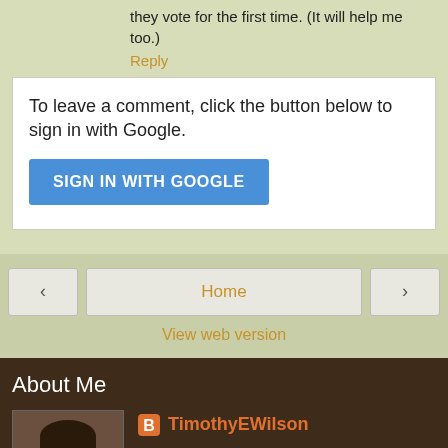they vote for the first time. (It will help me too.)
Reply
To leave a comment, click the button below to sign in with Google.
SIGN IN WITH GOOGLE
Home
View web version
About Me
[Figure (photo): Profile photo of a man]
TimothyEWilson
View my complete profile
Powered by Blogger.